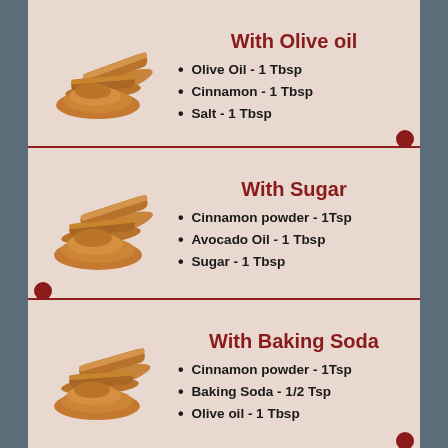With Olive oil
Olive Oil - 1 Tbsp
Cinnamon - 1 Tbsp
Salt - 1 Tbsp
With Sugar
Cinnamon powder - 1Tsp
Avocado Oil - 1 Tbsp
Sugar - 1 Tbsp
With Baking Soda
Cinnamon powder - 1Tsp
Baking Soda - 1/2 Tsp
Olive oil - 1 Tbsp